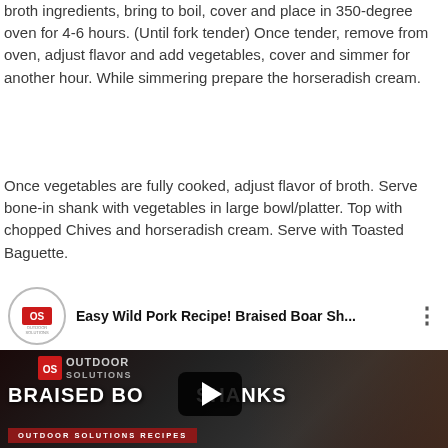broth ingredients, bring to boil, cover and place in 350-degree oven for 4-6 hours. (Until fork tender) Once tender, remove from oven, adjust flavor and add vegetables, cover and simmer for another hour. While simmering prepare the horseradish cream.
Once vegetables are fully cooked, adjust flavor of broth. Serve bone-in shank with vegetables in large bowl/platter. Top with chopped Chives and horseradish cream. Serve with Toasted Baguette.
[Figure (screenshot): YouTube video embed showing 'Easy Wild Pork Recipe! Braised Boar Sh...' with Outdoor Solutions channel icon in header, and video thumbnail with 'BRAISED BOAR SHANKS' title, Outdoor Solutions logo, play button, and 'OUTDOOR SOLUTIONS RECIPES' red bar at bottom.]